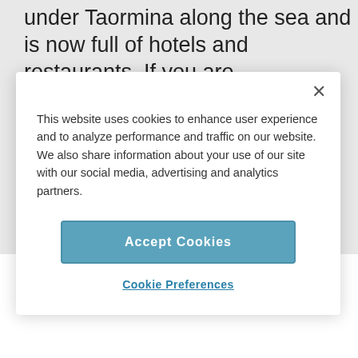under Taormina along the sea and is now full of hotels and restaurants. If you are
This website uses cookies to enhance user experience and to analyze performance and traffic on our website. We also share information about your use of our site with our social media, advertising and analytics partners.
Accept Cookies
Cookie Preferences
Public Gardens